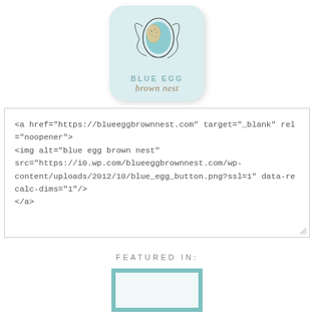[Figure (logo): Blue Egg Brown Nest logo: rounded square with light blue/teal background, illustrated egg with speckled quail eggs, text 'BLUE EGG' in teal uppercase and 'brown nest' in brown italic script]
<a href="https://blueeggbrownnest.com" target="_blank" rel="noopener">
<img alt="blue egg brown nest"
src="https://i0.wp.com/blueeggbrownnest.com/wp-content/uploads/2012/10/blue_egg_button.png?ssl=1" data-recalc-dims="1"/>
</a>
FEATURED IN:
[Figure (other): Partial view of a teal-bordered rectangular frame at the bottom of the page]